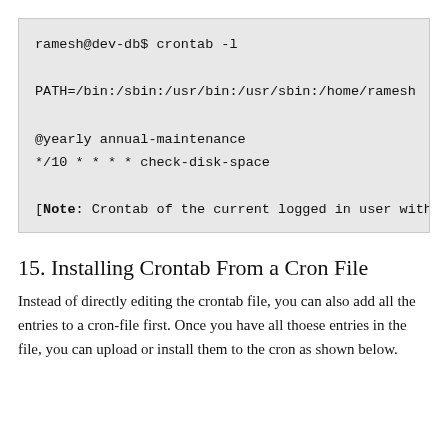[Figure (screenshot): Terminal code block showing crontab -l output with PATH setting, @yearly annual-maintenance, */10 * * * * check-disk-space, and a Note about crontab of the current logged in user with PATH]
15. Installing Crontab From a Cron File
Instead of directly editing the crontab file, you can also add all the entries to a cron-file first. Once you have all thoese entries in the file, you can upload or install them to the cron as shown below.